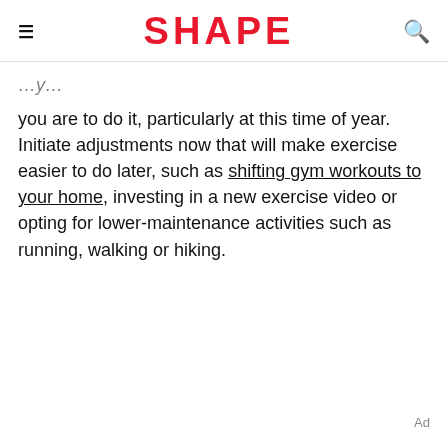SHAPE
you are to do it, particularly at this time of year. Initiate adjustments now that will make exercise easier to do later, such as shifting gym workouts to your home, investing in a new exercise video or opting for lower-maintenance activities such as running, walking or hiking.
Ad